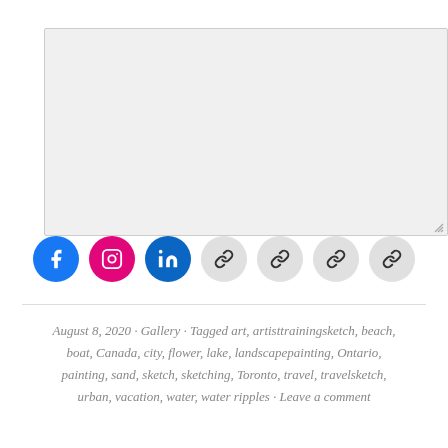[Figure (other): Large empty textarea/input box with resize handle at bottom-right]
[Figure (other): Row of social media icon buttons: Facebook (blue), Instagram (pink/magenta), LinkedIn (blue), and four generic link/chain icons on light gray circles]
August 8, 2020 · Gallery · Tagged art, artisttrainingsketch, beach, boat, Canada, city, flower, lake, landscapepainting, Ontario, painting, sand, sketch, sketching, Toronto, travel, travelsketch, urban, vacation, water, water ripples · Leave a comment